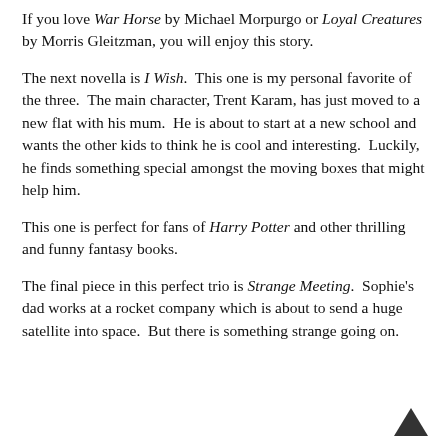If you love War Horse by Michael Morpurgo or Loyal Creatures by Morris Gleitzman, you will enjoy this story.
The next novella is I Wish.  This one is my personal favorite of the three.  The main character, Trent Karam, has just moved to a new flat with his mum.  He is about to start at a new school and wants the other kids to think he is cool and interesting.  Luckily, he finds something special amongst the moving boxes that might help him.
This one is perfect for fans of Harry Potter and other thrilling and funny fantasy books.
The final piece in this perfect trio is Strange Meeting.  Sophie's dad works at a rocket company which is about to send a huge satellite into space.  But there is something strange going on.